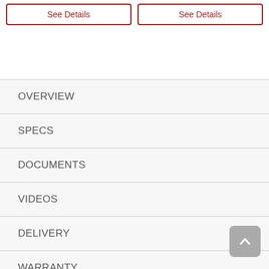See Details
See Details
OVERVIEW
SPECS
DOCUMENTS
VIDEOS
DELIVERY
WARRANTY
REVIEWS (22)